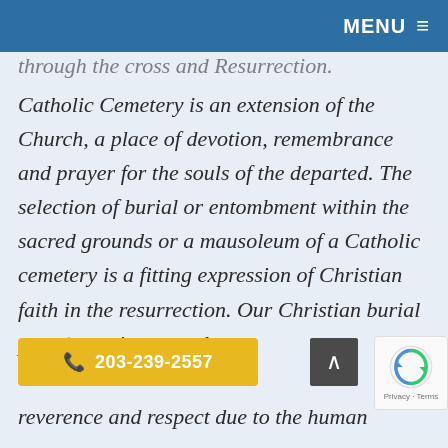MENU ≡
through the cross and Resurrection.
Catholic Cemetery is an extension of the Church, a place of devotion, remembrance and prayer for the souls of the departed. The selection of burial or entombment within the sacred grounds or a mausoleum of a Catholic cemetery is a fitting expression of Christian faith in the resurrection. Our Christian burial p[ractices bear] witness to the reverence and respect due to the human
203-239-2557
Privacy · Terms